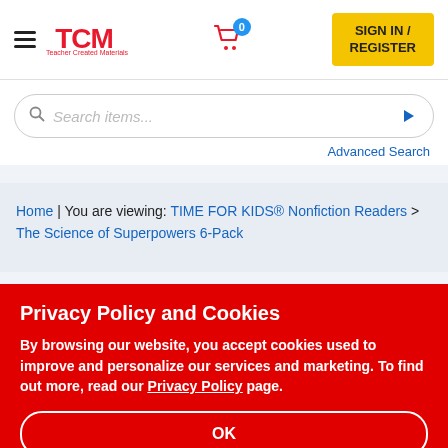TCM | Teacher Created Materials — SIGN IN / REGISTER
Search items...
Advanced Search
Home | You are viewing: TIME FOR KIDS® Nonfiction Readers > The Science of Superpowers 6-Pack
Privacy Policy and Cookies
By browsing our website, you accept cookies used to improve and personalize our services and marketing. To find out more, read our Privacy Policy page.
OK